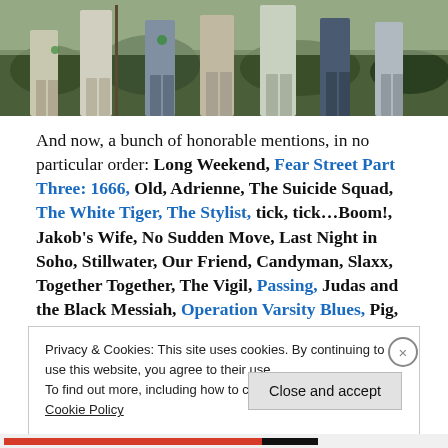[Figure (photo): Photo of people standing in a field or grassy outdoor area, visible from waist down]
And now, a bunch of honorable mentions, in no particular order: Long Weekend, Fear Street Part Three: 1666, Old, Adrienne, The Suicide Squad, The White Tiger, The Stylist, tick, tick…Boom!, Jakob's Wife, No Sudden Move, Last Night in Soho, Stillwater, Our Friend, Candyman, Slaxx, Together Together, The Vigil, Passing, Judas and the Black Messiah, Operation Varsity Blues, Pig, My Salinger Year, and
Privacy & Cookies: This site uses cookies. By continuing to use this website, you agree to their use.
To find out more, including how to control cookies, see here: Cookie Policy